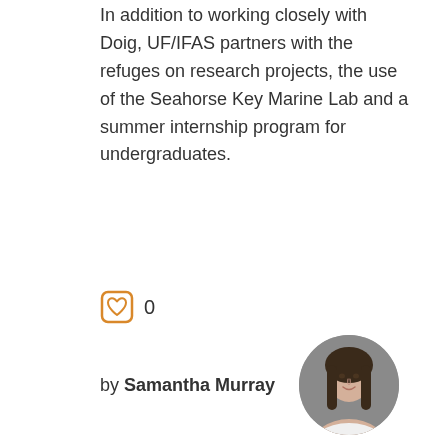In addition to working closely with Doig, UF/IFAS partners with the refuges on research projects, the use of the Seahorse Key Marine Lab and a summer internship program for undergraduates.
0
by Samantha Murray
[Figure (photo): Circular profile photo of Samantha Murray, a young woman with long dark hair, smiling, wearing a white top, against a grey background.]
Posted: March 2, 2020
Category: Coasts & Marine, Conservation, Forests, Invasive Species, NATURAL RESOURCES, SFYL Hot Topic, UF/IFAS Extension
Tags: Jack Payne, Mike Allen, Nature Coast Biological Station, News,